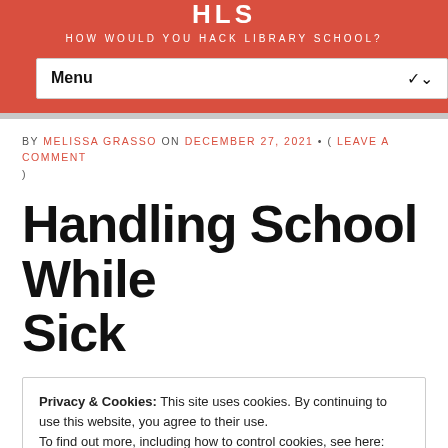HLS
HOW WOULD YOU HACK LIBRARY SCHOOL?
Menu
BY MELISSA GRASSO ON DECEMBER 27, 2021 • ( LEAVE A COMMENT )
Handling School While Sick
Privacy & Cookies: This site uses cookies. By continuing to use this website, you agree to their use.
To find out more, including how to control cookies, see here:
Cookie Policy
Close and accept